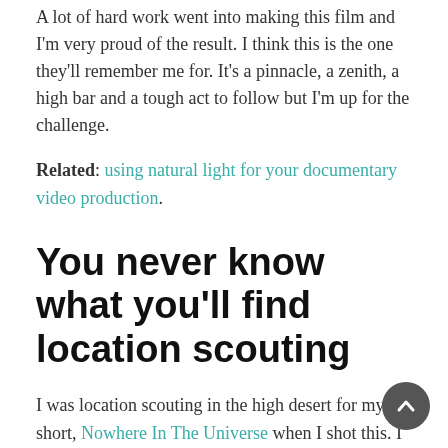A lot of hard work went into making this film and I'm very proud of the result. I think this is the one they'll remember me for. It's a pinnacle, a zenith, a high bar and a tough act to follow but I'm up for the challenge.
Related: using natural light for your documentary video production.
You never know what you'll find location scouting
I was location scouting in the high desert for my short, Nowhere In The Universe when I shot this. I won Best Comedy Film and the Audience Choice Award at the LA Film Forum.